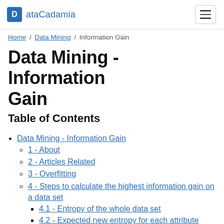ataCadamia
Home / Data Mining / Information Gain
Data Mining - Information Gain
Table of Contents
Data Mining - Information Gain
1 - About
2 - Articles Related
3 - Overfitting
4 - Steps to calculate the highest information gain on a data set
4.1 - Entropy of the whole data set
4.2 - Expected new entropy for each attribute
4.2.1 - outlook